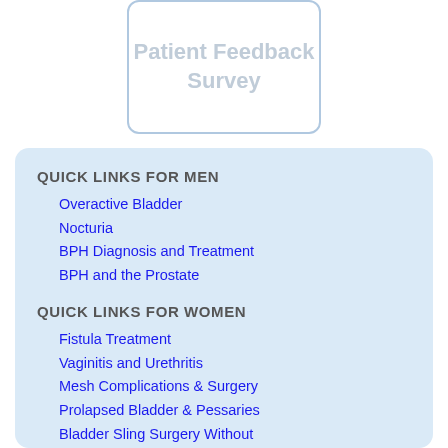[Figure (other): Patient Feedback Survey box with rounded border]
QUICK LINKS FOR MEN
Overactive Bladder
Nocturia
BPH Diagnosis and Treatment
BPH and the Prostate
QUICK LINKS FOR WOMEN
Fistula Treatment
Vaginitis and Urethritis
Mesh Complications & Surgery
Prolapsed Bladder & Pessaries
Bladder Sling Surgery Without